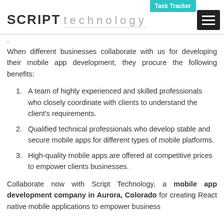SCRIPT technology — Task Tracker navigation header
When different businesses collaborate with us for developing their mobile app development, they procure the following benefits:
A team of highly experienced and skilled professionals who closely coordinate with clients to understand the client's requirements.
Qualified technical professionals who develop stable and secure mobile apps for different types of mobile platforms.
High-quality mobile apps are offered at competitive prices to empower clients businesses.
Collaborate now with Script Technology, a mobile app development company in Aurora, Colorado for creating React native mobile applications to empower business